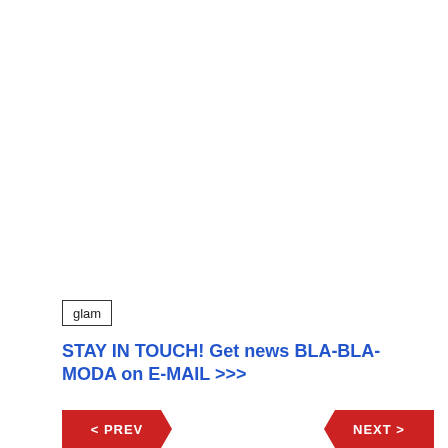glam
STAY IN TOUCH! Get news BLA-BLA-MODA on E-MAIL >>>
< PREV
NEXT >